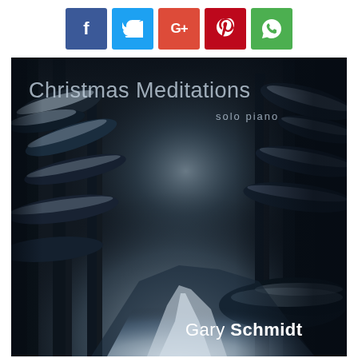[Figure (other): Social media sharing buttons: Facebook (blue), Twitter (light blue), Google+ (red), Pinterest (dark red), WhatsApp (green)]
[Figure (photo): Album cover for 'Christmas Meditations - solo piano' by Gary Schmidt. Dark, moody winter forest scene with snow-covered trees and a glowing path through the center. Title text at top left reads 'Christmas Meditations' with 'solo piano' below it. Artist name 'Gary Schmidt' at bottom right.]